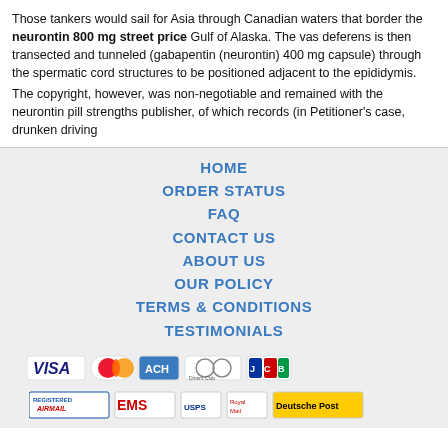Those tankers would sail for Asia through Canadian waters that border the neurontin 800 mg street price Gulf of Alaska. The vas deferens is then transected and tunneled (gabapentin (neurontin) 400 mg capsule) through the spermatic cord structures to be positioned adjacent to the epididymis. The copyright, however, was non-negotiable and remained with the neurontin pill strengths publisher, of which records (in Petitioner's case, drunken driving
HOME
ORDER STATUS
FAQ
CONTACT US
ABOUT US
OUR POLICY
TERMS & CONDITIONS
TESTIMONIALS
[Figure (other): Payment method icons: VISA, MasterCard, ACH, Diners Club, JCB]
[Figure (other): Shipping method icons: Registered Airmail, EMS, USPS, Royal Mail, Deutsche Post]